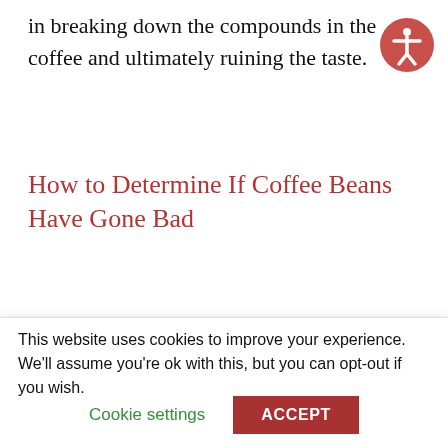in breaking down the compounds in the coffee and ultimately ruining the taste.
How to Determine If Coffee Beans Have Gone Bad
You can determine if coffee beans have gone bad from the smell. Your coffee will taste similar to the smell, so if it smells bad, dull, rancid, musty, or even just a little bit off or not
This website uses cookies to improve your experience. We'll assume you're ok with this, but you can opt-out if you wish.
Cookie settings   ACCEPT